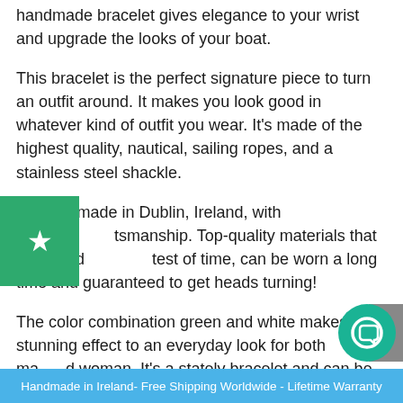handmade bracelet gives elegance to your wrist and upgrade the looks of your boat.
This bracelet is the perfect signature piece to turn an outfit around. It makes you look good in whatever kind of outfit you wear. It's made of the highest quality, nautical, sailing ropes, and a stainless steel shackle.
It's handmade in Dublin, Ireland, with Irish craftsmanship. Top-quality materials that withstand the test of time, can be worn a long time and guaranteed to get heads turning!
The color combination green and white makes a stunning effect to an everyday look for both man and woman. It's a stately bracelet and can be worn on anything. People have loved and related to how...
Handmade in Ireland- Free Shipping Worldwide - Lifetime Warranty